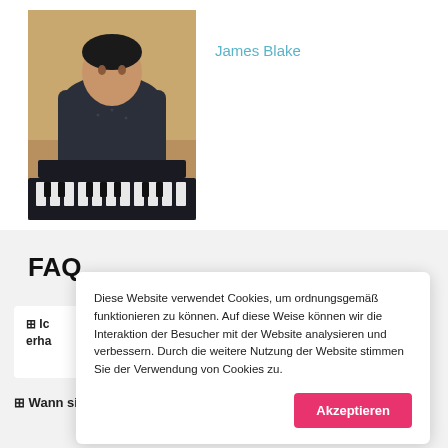[Figure (photo): Photo of James Blake sitting at a keyboard/piano instrument, wearing a dark patterned shirt, warm background lighting]
James Blake
FAQ
⊞ Ic... erha...
Diese Website verwendet Cookies, um ordnungsgemäß funktionieren zu können. Auf diese Weise können wir die Interaktion der Besucher mit der Website analysieren und verbessern. Durch die weitere Nutzung der Website stimmen Sie der Verwendung von Cookies zu.
Akzeptieren
⊞ Wann sind die Noten fertig, wenn ich eine